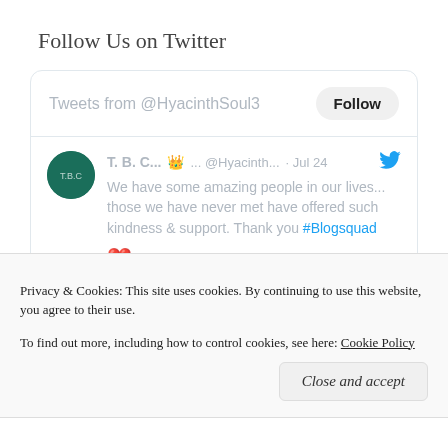Follow Us on Twitter
[Figure (screenshot): Twitter widget showing tweets from @HyacinthSoul3 with a Follow button. A tweet from T. B. C... with emoji crown @Hyacinth... on Jul 24 reads: We have some amazing people in our lives... those we have never met have offered such kindness & support. Thank you #Blogsquad with a red heart emoji and 3 likes.]
Privacy & Cookies: This site uses cookies. By continuing to use this website, you agree to their use.
To find out more, including how to control cookies, see here: Cookie Policy
Close and accept